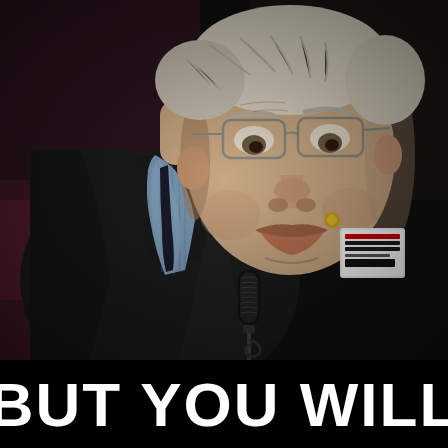[Figure (photo): An elderly white-haired man with glasses, wearing a dark suit jacket and light blue striped shirt, leaning toward a microphone with a somber or dejected expression. He has a name badge on his lapel. The background is dark and blurred.]
BUT YOU WILL